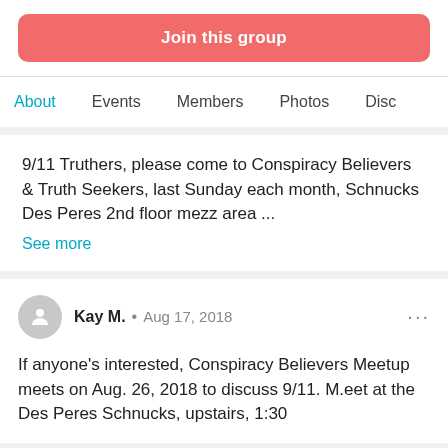Join this group
About  Events  Members  Photos  Disc
9/11 Truthers, please come to Conspiracy Believers & Truth Seekers, last Sunday each month, Schnucks Des Peres 2nd floor mezz area ...
See more
Kay M.  •  Aug 17, 2018
If anyone's interested, Conspiracy Believers Meetup meets on Aug. 26, 2018 to discuss 9/11. M.eet at the Des Peres Schnucks, upstairs, 1:30